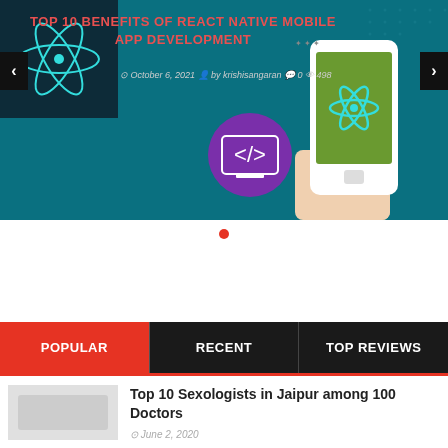[Figure (screenshot): Hero banner slider showing 'TOP 10 BENEFITS OF REACT NATIVE MOBILE APP DEVELOPMENT' with teal background, React logo on left, hand holding smartphone with React logo on right, navigation arrows, date October 6 2021, author krishisangaran, 0 comments, 498 views]
TOP 10 BENEFITS OF REACT NATIVE MOBILE APP DEVELOPMENT
October 6, 2021  by krishisangaran  0  498
• (slider dot indicator)
POPULAR
RECENT
TOP REVIEWS
Top 10 Sexologists in Jaipur among 100 Doctors
June 2, 2020